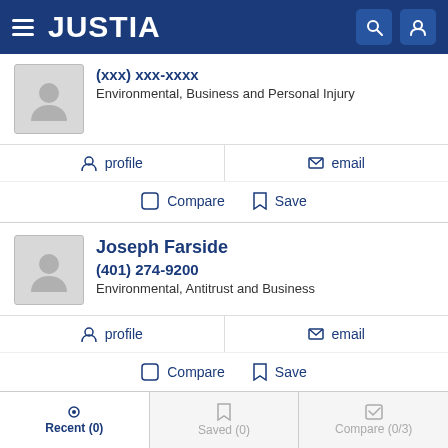JUSTIA
(xxx) xxx-xxxx
Environmental, Business and Personal Injury
profile  email
Compare  Save
Joseph Farside
(401) 274-9200
Environmental, Antitrust and Business
profile  email
Compare  Save
Recent (0)  Saved (0)  Compare (0/3)